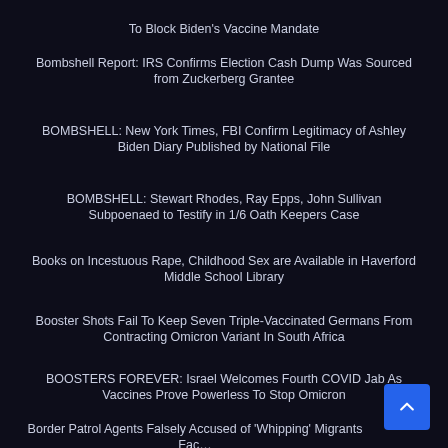To Block Biden's Vaccine Mandate
Bombshell Report: IRS Confirms Election Cash Dump Was Sourced from Zuckerberg Grantee
BOMBSHELL: New York Times, FBI Confirm Legitimacy of Ashley Biden Diary Published by National File
BOMBSHELL: Stewart Rhodes, Ray Epps, John Sullivan Subpoenaed to Testify in 1/6 Oath Keepers Case
Books on Incestuous Rape, Childhood Sex are Available in Haverford Middle School Library
Booster Shots Fail To Keep Seven Triple-Vaccinated Germans From Contracting Omicron Variant In South Africa
BOOSTERS FOREVER: Israel Welcomes Fourth COVID Jab As Vaccines Prove Powerless To Stop Omicron
Border Patrol Agents Falsely Accused of 'Whipping' Migrants Face Punishment From Biden Administration